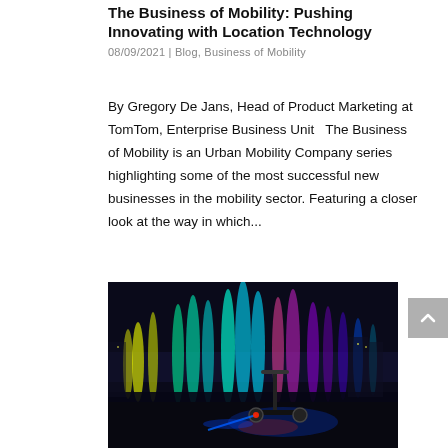The Business of Mobility: Pushing Innovating with Location Technology
08/09/2021 | Blog, Business of Mobility
By Gregory De Jans, Head of Product Marketing at TomTom, Enterprise Business Unit   The Business of Mobility is an Urban Mobility Company series highlighting some of the most successful new businesses in the mobility sector. Featuring a closer look at the way in which...
[Figure (photo): An electric scooter with blue LED lights parked in front of colorful illuminated water fountains at night. The fountains are lit in yellow, green, cyan, and purple colors. The scene is outdoors at night.]